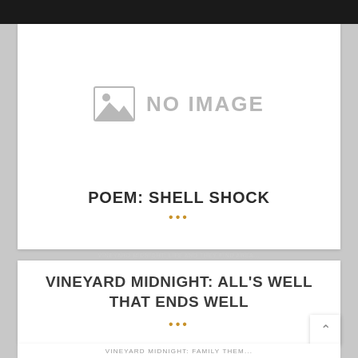[Figure (other): No image placeholder with mountain/landscape icon and text 'NO IMAGE']
POEM: SHELL SHOCK
•••
VINEYARD MIDNIGHT: ALL'S WELL THAT ENDS WELL
•••